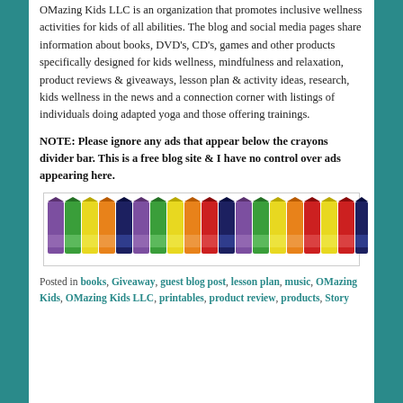OMazing Kids LLC is an organization that promotes inclusive wellness activities for kids of all abilities. The blog and social media pages share information about books, DVD's, CD's, games and other products specifically designed for kids wellness, mindfulness and relaxation, product reviews & giveaways, lesson plan & activity ideas, research, kids wellness in the news and a connection corner with listings of individuals doing adapted yoga and those offering trainings.
NOTE: Please ignore any ads that appear below the crayons divider bar. This is a free blog site & I have no control over ads appearing here.
[Figure (photo): A row of colorful crayons of various colors including purple, green, yellow, orange, dark blue, and red arranged side by side inside a bordered box.]
Posted in books, Giveaway, guest blog post, lesson plan, music, OMazing Kids, OMazing Kids LLC, printables, product review, products, Story